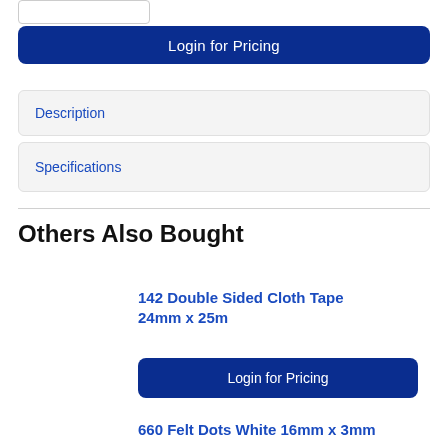Login for Pricing
Description
Specifications
Others Also Bought
142 Double Sided Cloth Tape 24mm x 25m
Login for Pricing
660 Felt Dots White 16mm x 3mm